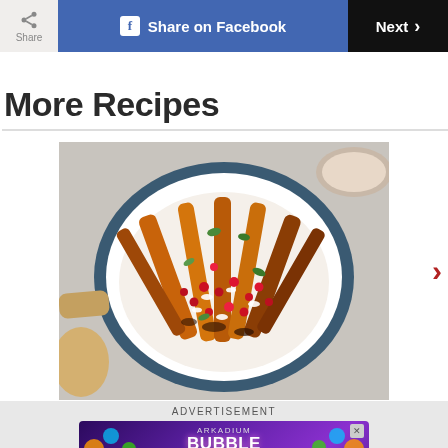Share | Share on Facebook | Next >
More Recipes
[Figure (photo): A blue plate with roasted carrots topped with pomegranate seeds, white cheese crumbles, and fresh herbs, photographed from above on a light gray surface with a wooden spoon visible.]
ADVERTISEMENT
[Figure (screenshot): Arkadium Bubble Shooter advertisement banner with colorful bubbles on purple background.]